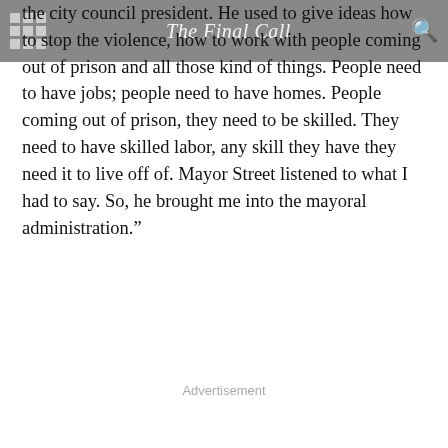The Final Call
the city council president. He used to give ideas how to stop the violence, how to work with people coming out of prison and all those kind of things. People need to have jobs; people need to have homes. People coming out of prison, they need to be skilled. They need to have skilled labor, any skill they have they need it to live off of. Mayor Street listened to what I had to say. So, he brought me into the mayoral administration."
Advertisement